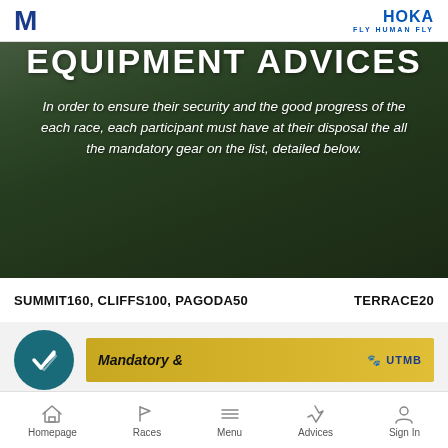M | HOKA FLY HUMAN FLY
EQUIPMENT ADVICES
In order to ensure their security and the good progress of the each race, each participant must have at their disposal the all the mandatory gear on the list, detailed below.
SUMMIT160, CLIFFS100, PAGODA50        TERRACE20
Mandatory &
Homepage  Races  Menu  Advices  Sign In